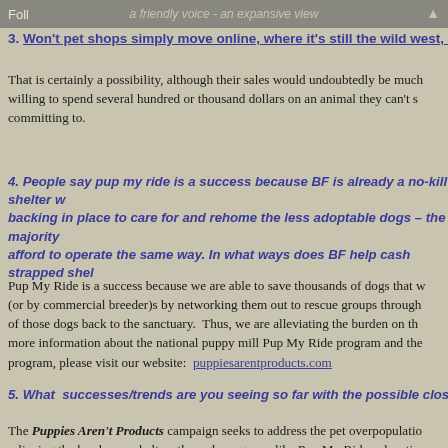Foll | a friendly voice - an expansive view | ▲
3. Won't pet shops simply move online, where it's still the wild west, with no
That is certainly a possibility, although their sales would undoubtedly be much willing to spend several hundred or thousand dollars on an animal they can't s committing to.
4. People say pup my ride is a success because BF is already a no-kill shelter w backing in place to care for and rehome the less adoptable dogs – the majority afford to operate the same way. In what ways does BF help cash strapped shel
Pup My Ride is a success because we are able to save thousands of dogs that w (or by commercial breeder)s by networking them out to rescue groups through of those dogs back to the sanctuary. Thus, we are alleviating the burden on th more information about the national puppy mill Pup My Ride program and the program, please visit our website: puppiesarentproducts.com
5. What successes/trends are you seeing so far with the possible closing of pu
The Puppies Aren't Products campaign seeks to address the pet overpopulatio relieving the burden on shelters through programs like Pup My Ride, educatin